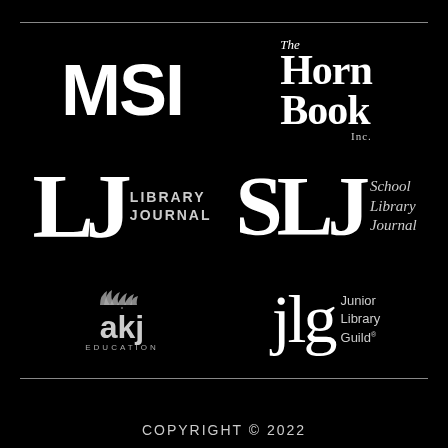[Figure (logo): MSI logo — bold white letters on black background]
[Figure (logo): The Horn Book Inc. logo — serif white text on black background]
[Figure (logo): LJ Library Journal logo — large serif LJ letters with LIBRARY JOURNAL text]
[Figure (logo): SLJ School Library Journal logo — large serif SLJ letters with School Library Journal text]
[Figure (logo): akj education logo — stylized text with decorative leaves above]
[Figure (logo): jlg Junior Library Guild logo — lowercase serif jlg letters with Junior Library Guild text]
COPYRIGHT © 2022